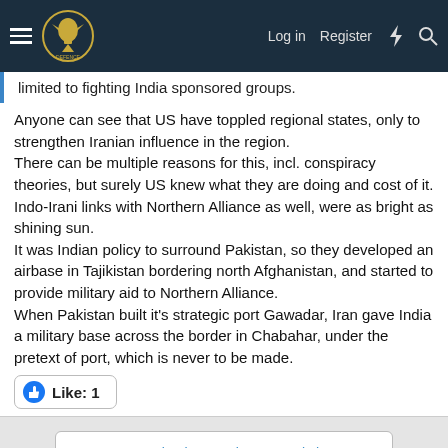Forum navigation bar with hamburger menu, logo, Log in, Register, lightning bolt, and search icons
limited to fighting India sponsored groups.
Anyone can see that US have toppled regional states, only to strengthen Iranian influence in the region.
There can be multiple reasons for this, incl. conspiracy theories, but surely US knew what they are doing and cost of it.
Indo-Irani links with Northern Alliance as well, were as bright as shining sun.
It was Indian policy to surround Pakistan, so they developed an airbase in Tajikistan bordering north Afghanistan, and started to provide military aid to Northern Alliance.
When Pakistan built it's strategic port Gawadar, Iran gave India a military base across the border in Chabahar, under the pretext of port, which is never to be made.
Like: 1
You must log in or register to reply here.
Share: